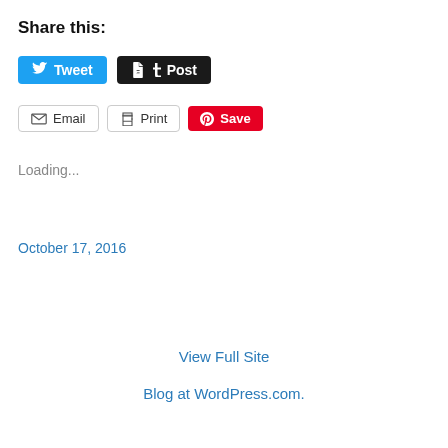Share this:
[Figure (screenshot): Social share buttons row 1: Tweet (Twitter blue button) and Post (Tumblr dark button)]
[Figure (screenshot): Social share buttons row 2: Email (outlined), Print (outlined), Save (Pinterest red button)]
Loading...
October 17, 2016
View Full Site
Blog at WordPress.com.